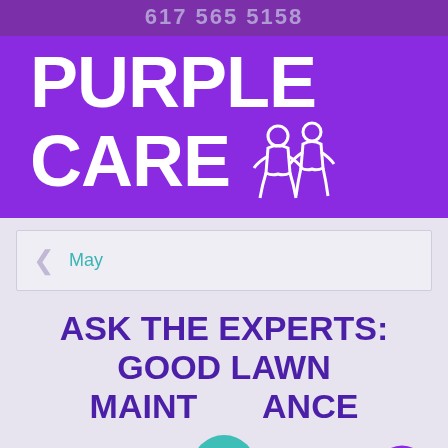617 565 5158
[Figure (logo): Purple Care logo with large white bold text 'PURPLE CARE' on purple background with white mascot figure (lawn care characters) to the right of CARE]
May
ASK THE EXPERTS: GOOD LAWN MAINTENANCE